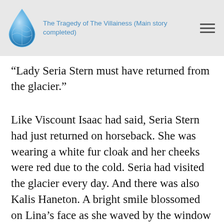The Tragedy of The Villainess (Main story completed)
“Lady Seria Stern must have returned from the glacier.”
Like Viscount Isaac had said, Seria Stern had just returned on horseback. She was wearing a white fur cloak and her cheeks were red due to the cold. Seria had visited the glacier every day. And there was also Kalis Haneton. A bright smile blossomed on Lina’s face as she waved by the window greeting him.